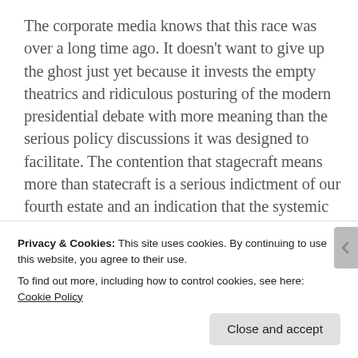The corporate media knows that this race was over a long time ago. It doesn't want to give up the ghost just yet because it invests the empty theatrics and ridiculous posturing of the modern presidential debate with more meaning than the serious policy discussions it was designed to facilitate. The contention that stagecraft means more than statecraft is a serious indictment of our fourth estate and an indication that the systemic corruption beneath the Media's shiny façade threatens our democracy.  We need to continue
Privacy & Cookies: This site uses cookies. By continuing to use this website, you agree to their use.
To find out more, including how to control cookies, see here: Cookie Policy
Close and accept